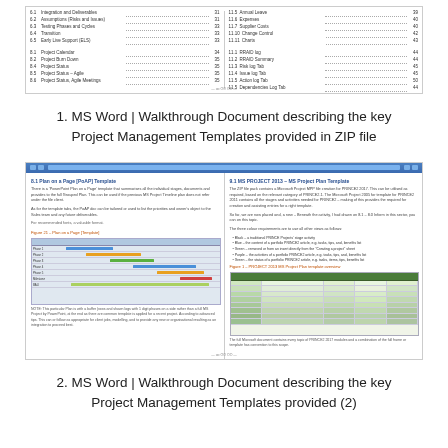[Figure (screenshot): Screenshot of a MS Word document showing a table of contents with two columns listing numbered sections and page numbers for a project management template document.]
1. MS Word | Walkthrough Document describing the key Project Management Templates provided in ZIP file
[Figure (screenshot): Screenshot of a MS Word document showing two pages side by side: left page titled '8.1 Plan on a Page [PoAP] Template' with Gantt chart figure, and right page titled '9.1 MS PROJECT 2013 – MS Project Plan Template' with a green grid/spreadsheet figure and bullet points.]
2. MS Word | Walkthrough Document describing the key Project Management Templates provided (2)